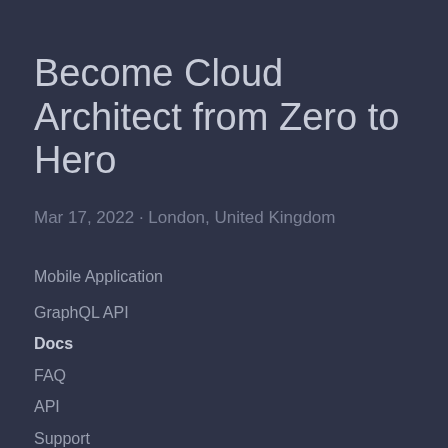Become Cloud Architect from Zero to Hero
Mar 17, 2022 · London, United Kingdom
Mobile Application
GraphQL API
Docs
FAQ
API
Support
Terms
Privacy
Cookies